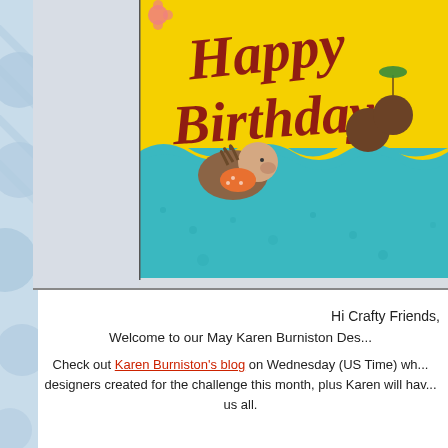[Figure (photo): Close-up photo of a handmade Happy Birthday card with yellow background, cursive red 'Happy Birthday' text, teal ocean wave design, and a cartoon hedgehog character in an orange swimsuit. Decorative coconuts and tropical elements visible. Card is angled on a white/light gray surface.]
Hi Crafty Friends,
Welcome to our May Karen Burniston Des...
Check out Karen Burniston's blog on Wednesday (US Time) wh... designers created for the challenge this month, plus Karen will hav... us all.